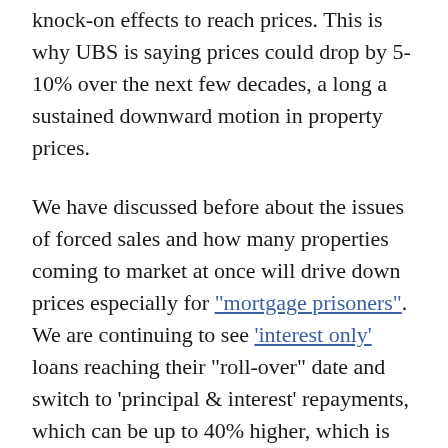knock-on effects to reach prices. This is why UBS is saying prices could drop by 5-10% over the next few decades, a long a sustained downward motion in property prices.
We have discussed before about the issues of forced sales and how many properties coming to market at once will drive down prices especially for "mortgage prisoners". We are continuing to see 'interest only' loans reaching their "roll-over" date and switch to 'principal & interest' repayments, which can be up to 40% higher, which is causing "mortgage stress" so many investors are now selling. In both these cases it means